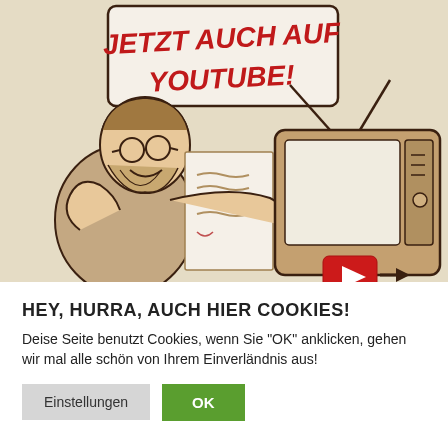[Figure (illustration): Hand-drawn cartoon illustration on a beige/tan background. A man with a beard and glasses holds up a document/paper next to an old-style television set with rabbit-ear antennas. A speech bubble above reads 'JETZT AUCH AUF YOUTUBE!' in red handwritten-style text. At the bottom of the TV, there is a YouTube play button icon with an arrow pointing right.]
HEY, HURRA, AUCH HIER COOKIES!
Deise Seite benutzt Cookies, wenn Sie "OK" anklicken, gehen wir mal alle schön von Ihrem Einverländnis aus!